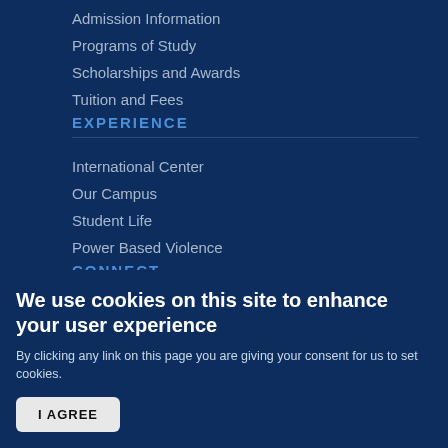Admission Information
Programs of Study
Scholarships and Awards
Tuition and Fees
EXPERIENCE
International Center
Our Campus
Student Life
Power Based Violence
CONNECT
We use cookies on this site to enhance your user experience
By clicking any link on this page you are giving your consent for us to set cookies.